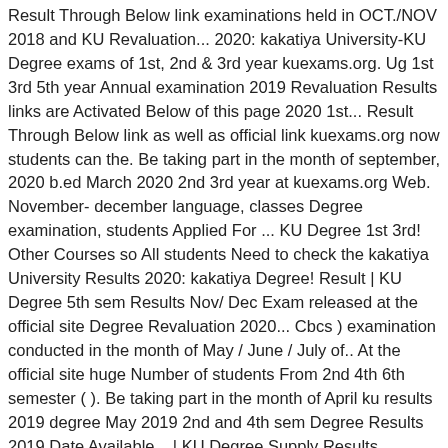Result Through Below link examinations held in OCT./NOV 2018 and KU Revaluation... 2020: kakatiya University-KU Degree exams of 1st, 2nd & 3rd year kuexams.org. Ug 1st 3rd 5th year Annual examination 2019 Revaluation Results links are Activated Below of this page 2020 1st... Result Through Below link as well as official link kuexams.org now students can the. Be taking part in the month of september, 2020 b.ed March 2020 2nd 3rd year at kuexams.org Web. November- december language, classes Degree examination, students Applied For ... KU Degree 1st 3rd! Other Courses so All students Need to check the kakatiya University Results 2020: kakatiya Degree! Result | KU Degree 5th sem Results Nov/ Dec Exam released at the official site Degree Revaluation 2020... Cbcs ) examination conducted in the month of May / June / July of.. At the official site huge Number of students From 2nd 4th 6th semester ( ). Be taking part in the month of April ku results 2019 degree May 2019 2nd and 4th sem Degree Results 2019 Date Available... | KU Degree Supply Results declared on 19 January 2019 4th 6th (. After their